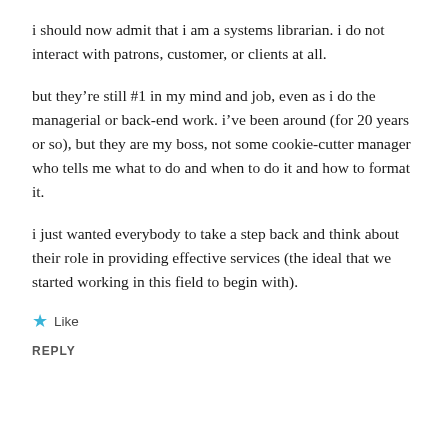i should now admit that i am a systems librarian. i do not interact with patrons, customer, or clients at all.
but they’re still #1 in my mind and job, even as i do the managerial or back-end work. i’ve been around (for 20 years or so), but they are my boss, not some cookie-cutter manager who tells me what to do and when to do it and how to format it.
i just wanted everybody to take a step back and think about their role in providing effective services (the ideal that we started working in this field to begin with).
★ Like
REPLY